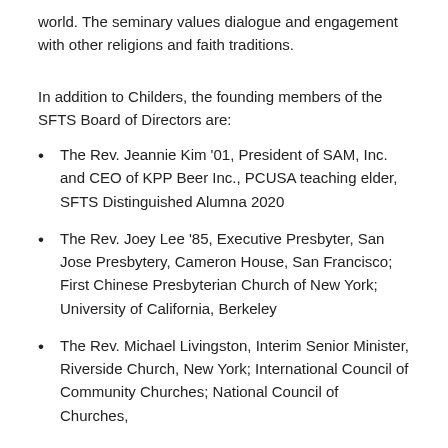world. The seminary values dialogue and engagement with other religions and faith traditions.
In addition to Childers, the founding members of the SFTS Board of Directors are:
The Rev. Jeannie Kim '01, President of SAM, Inc. and CEO of KPP Beer Inc., PCUSA teaching elder, SFTS Distinguished Alumna 2020
The Rev. Joey Lee '85, Executive Presbyter, San Jose Presbytery, Cameron House, San Francisco; First Chinese Presbyterian Church of New York; University of California, Berkeley
The Rev. Michael Livingston, Interim Senior Minister, Riverside Church, New York; International Council of Community Churches; National Council of Churches,